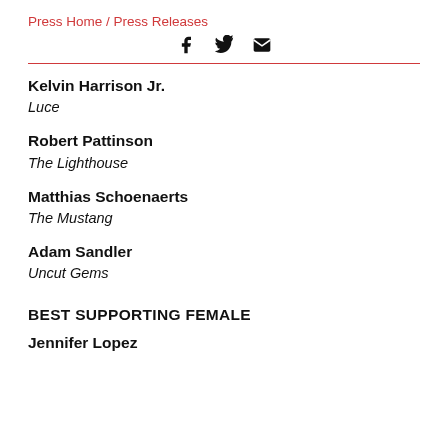Press Home / Press Releases
Kelvin Harrison Jr.
Luce
Robert Pattinson
The Lighthouse
Matthias Schoenaerts
The Mustang
Adam Sandler
Uncut Gems
BEST SUPPORTING FEMALE
Jennifer Lopez